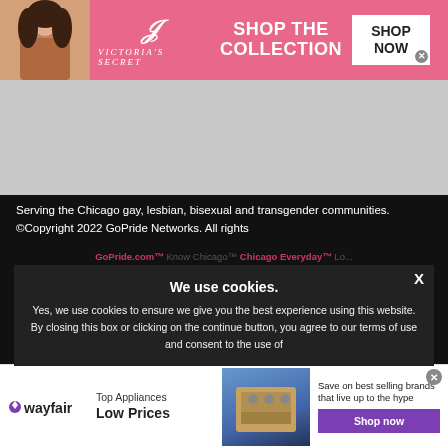[Figure (screenshot): Victoria's Secret banner ad with pink background, model on left, VS logo and 'SHOP THE COLLECTION' text in center, 'SHOP NOW' button on right]
[Figure (screenshot): Gray rectangular blank content area]
Serving the Chicago gay, lesbian, bisexual and transgender communities. ©Copyright 2022 GoPride Networks. All rights
GoPride.com™ Know Chicago™ Chicago Everyday™ Lo...
We use cookies.
Yes, we use cookies to ensure we give you the best experience using this website.
By closing this box or clicking on the continue button, you agree to our terms of use and consent to the use of
[Figure (screenshot): Wayfair banner ad: Top Appliances Low Prices with stove image and Shop now button]